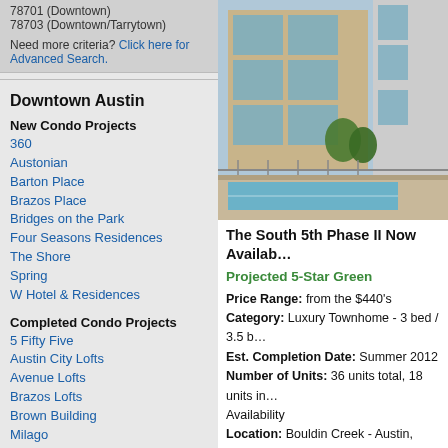78701 (Downtown)
78703 (Downtown/Tarrytown)
Need more criteria? Click here for Advanced Search.
Downtown Austin
New Condo Projects
360
Austonian
Barton Place
Brazos Place
Bridges on the Park
Four Seasons Residences
The Shore
Spring
W Hotel & Residences
Completed Condo Projects
5 Fifty Five
Austin City Lofts
Avenue Lofts
Brazos Lofts
Brown Building
Milago
Nokonah
Plaza Lofts
Sabine on 5th
Emerging Condo Projects
21c Museum Residences
721 Congress
1155 Barton Springs
[Figure (photo): Exterior photo of The South 5th Phase II development showing modern townhome building with glass balconies, wood siding, and a foreground swimming pool]
The South 5th Phase II Now Availab…
Projected 5-Star Green
Price Range: from the $440's
Category: Luxury Townhome - 3 bed / 3.5 b…
Est. Completion Date: Summer 2012
Number of Units: 36 units total, 18 units in… Availability
Location: Bouldin Creek - Austin, Texas - 78…
Centrally located in the thriving Bouldin Cree…